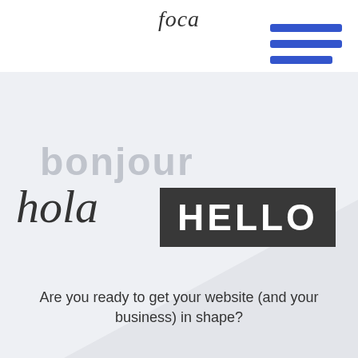[Figure (logo): Handwritten/script logo text at top center]
[Figure (illustration): Hamburger menu icon with three blue horizontal bars at top right]
[Figure (illustration): Light blue-grey background section with diagonal grey overlay shape, containing greetings in different styles: 'bonjour' in light grey bold, 'hola' in dark script, 'HELLO' in white on dark box]
Are you ready to get your website (and your business) in shape?